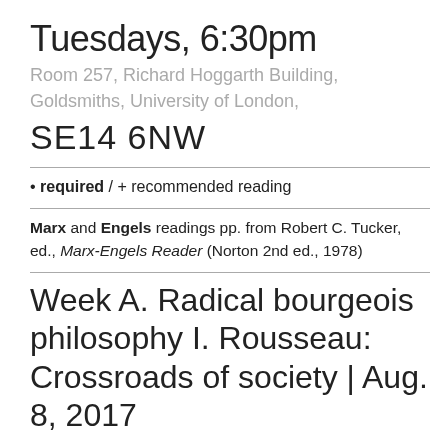Tuesdays, 6:30pm
Room 257, Richard Hoggarth Building, Goldsmiths, University of London,
SE14 6NW
• required / + recommended reading
Marx and Engels readings pp. from Robert C. Tucker, ed., Marx-Engels Reader (Norton 2nd ed., 1978)
Week A. Radical bourgeois philosophy I. Rousseau: Crossroads of society | Aug. 8, 2017